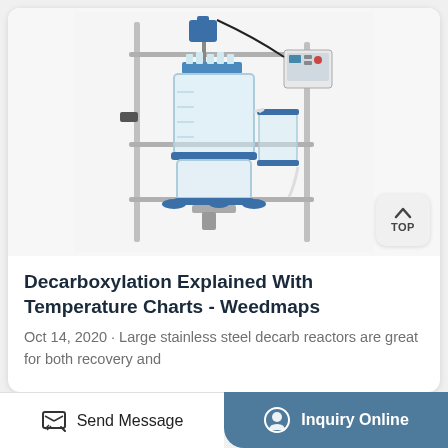[Figure (photo): Laboratory glass reactor system mounted on stainless steel frame with motor, tubing, and electronic control panel. Large cylindrical glass vessel with multiple ports and blue metal fittings.]
Decarboxylation Explained With Temperature Charts - Weedmaps
Oct 14, 2020 · Large stainless steel decarb reactors are great for both recovery and
Send Message
Inquiry Online